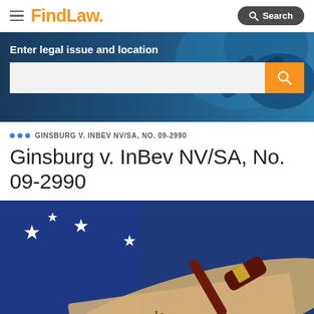FindLaw — Search
[Figure (screenshot): Hero banner with search bar — dark blue background with legal imagery (scales of justice), label: 'Enter legal issue and location', white search input box with orange search button]
... GINSBURG V. INBEV NV/SA, NO. 09-2990
Ginsburg v. InBev NV/SA, No. 09-2990
[Figure (photo): American flag with stars and a wooden gavel resting on a Constitution scroll reading 'We the People', patriotic legal imagery]